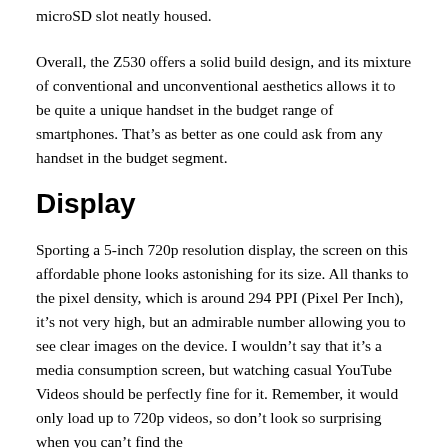microSD slot neatly housed.
Overall, the Z530 offers a solid build design, and its mixture of conventional and unconventional aesthetics allows it to be quite a unique handset in the budget range of smartphones. That's as better as one could ask from any handset in the budget segment.
Display
Sporting a 5-inch 720p resolution display, the screen on this affordable phone looks astonishing for its size. All thanks to the pixel density, which is around 294 PPI (Pixel Per Inch), it's not very high, but an admirable number allowing you to see clear images on the device. I wouldn't say that it's a media consumption screen, but watching casual YouTube Videos should be perfectly fine for it. Remember, it would only load up to 720p videos, so don't look so surprising when you can't find the